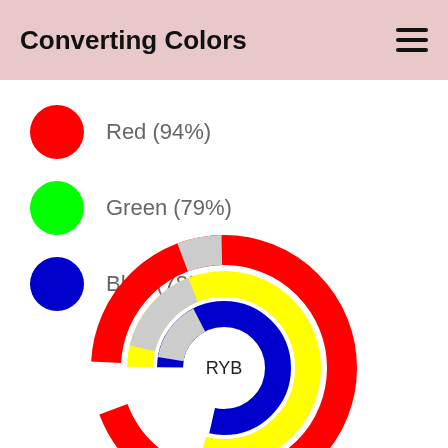Converting Colors
Red (94%)
Green (79%)
Blue (78%)
[Figure (donut-chart): RYB color model donut/ring chart showing three concentric arcs for Red (94%), Yellow (RYB middle), and Blue (78%), with a gray gap arc and center label RYB]